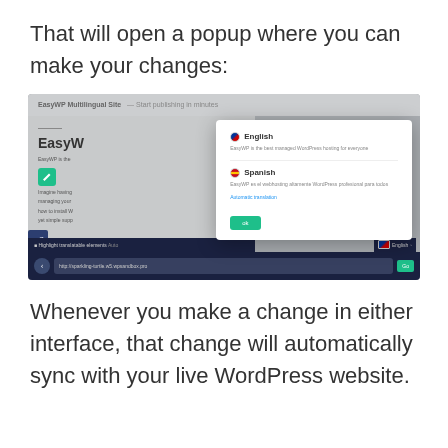That will open a popup where you can make your changes:
[Figure (screenshot): Screenshot of a WordPress website editor showing a popup dialog with language options — English and Spanish — for a multilingual site. The popup has an OK button at the bottom. The browser bar shows the URL http://sparkling-turtle.w5.wpsandbox.pro and a 'Highlight translatable elements' toggle.]
Whenever you make a change in either interface, that change will automatically sync with your live WordPress website.